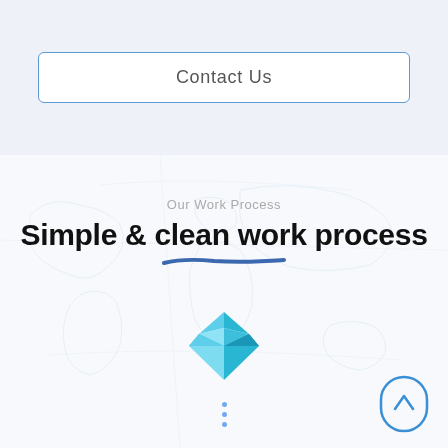Contact Us
Our Work Process
Simple & clean work process
[Figure (illustration): Blue diamond gem icon with facets in teal and light blue colors]
[Figure (illustration): Scroll-to-top button: rounded rectangle with upward chevron arrow, blue outline]